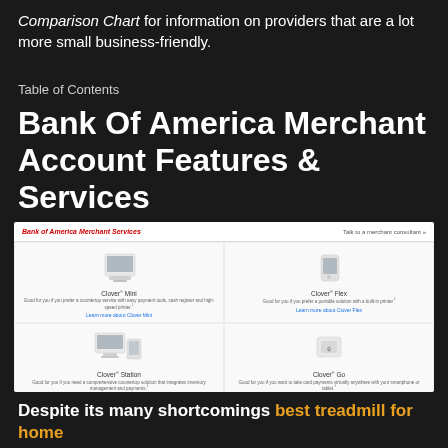Comparison Chart for information on providers that are a lot more small business-friendly.
Table of Contents
Bank Of America Merchant Account Features & Services
[Figure (screenshot): Screenshot of Bank of America Merchant Services webpage showing four Clover device products: Clover Mini, Clover Flex, Clover Station, and Clover Go, each with product images, descriptions, and learn more links.]
Despite its many shortcomings best treadmill for home